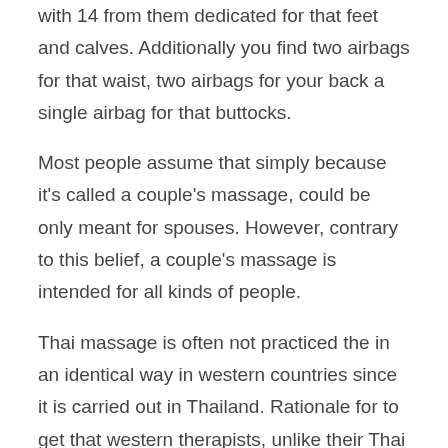with 14 from them dedicated for that feet and calves. Additionally you find two airbags for that waist, two airbags for your back a single airbag for that buttocks.
Most people assume that simply because it's called a couple's massage, could be only meant for spouses. However, contrary to this belief, a couple's massage is intended for all kinds of people.
Thai massage is often not practiced the in an identical way in western countries since it is carried out in Thailand. Rationale for to get that western therapists, unlike their Thai counterparts, cash more access and get in touch with other massage styles. Therefore there certainly a tendency to mix and blend and combine techniques. Therapists in Thailand have generally never used anything but the traditional involving working, meaning that you don't find much blending and changing in Thailand.
https://siwonhe.co.kr -massage causes the body to build a chemical called endorphins (the happy natural drug), easy to